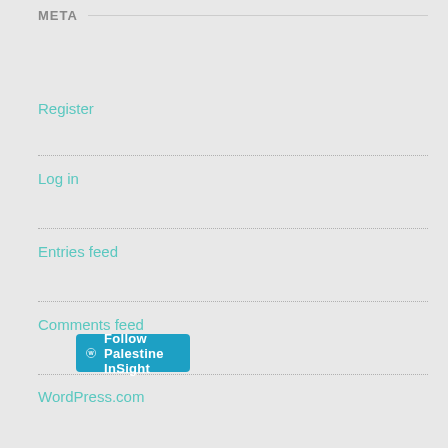META
Register
Log in
Entries feed
Comments feed
WordPress.com
[Figure (other): Follow Palestine InSight button with WordPress logo]